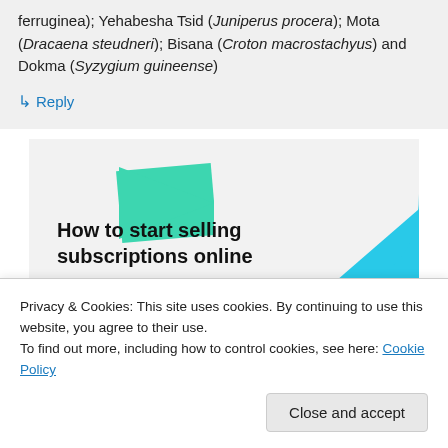ferruginea); Yehabesha Tsid (Juniperus procera); Mota (Dracaena steudneri); Bisana (Croton macrostachyus) and Dokma (Syzygium guineense)
↳ Reply
[Figure (illustration): Advertisement banner with geometric shapes (green and purple triangles, blue quarter-circle) on light background with bold text: 'How to start selling subscriptions online']
Privacy & Cookies: This site uses cookies. By continuing to use this website, you agree to their use.
To find out more, including how to control cookies, see here: Cookie Policy
Close and accept